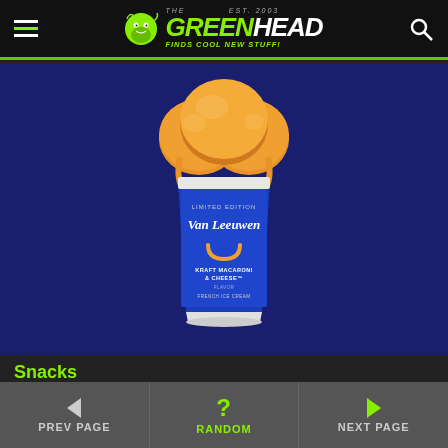The Green Head - Finds Cool New Stuff!
[Figure (photo): Van Leeuwen Limited Edition Kraft Macaroni & Cheese French Ice Cream pint with orange scoops on top, on a dark blue background]
Snacks
Kraft Macaroni and Cheese Ice Cream
PREV PAGE | RANDOM | NEXT PAGE